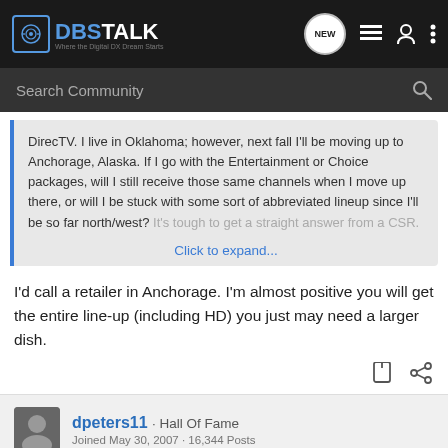DBSTALK - Where the Digital DX Dream Starts
Search Community
DirecTV. I live in Oklahoma; however, next fall I'll be moving up to Anchorage, Alaska. If I go with the Entertainment or Choice packages, will I still receive those same channels when I move up there, or will I be stuck with some sort of abbreviated lineup since I'll be so far north/west? It's tough to get a straight answer from a CSR.
Click to expand...
I'd call a retailer in Anchorage. I'm almost positive you will get the entire line-up (including HD) you just may need a larger dish.
dpeters11 · Hall Of Fame
Joined May 30, 2007 · 16,344 Posts